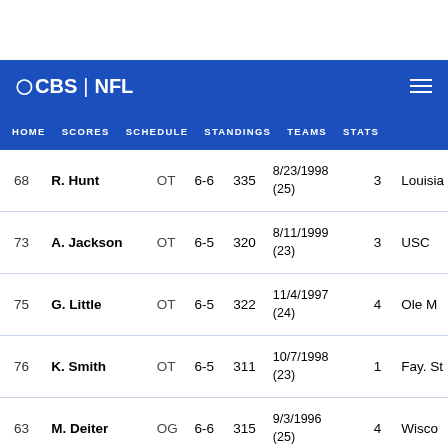CBS | NFL
HOME  SCORES  SCHEDULE  STANDINGS  TEAMS  STATS
| # | Name | Pos | Ht | Wt | DOB (Age) | Exp | College |
| --- | --- | --- | --- | --- | --- | --- | --- |
| 68 | R. Hunt | OT | 6-6 | 335 | 8/23/1998 (25) | 3 | Louisia… |
| 73 | A. Jackson | OT | 6-5 | 320 | 8/11/1999 (23) | 3 | USC |
| 75 | G. Little | OT | 6-5 | 322 | 11/4/1997 (24) | 4 | Ole M… |
| 76 | K. Smith | OT | 6-5 | 311 | 10/7/1998 (23) | 1 | Fay. St… |
| 63 | M. Deiter | OG | 6-6 | 315 | 9/3/1996 (25) | 4 | Wisco… |
| 66 | S. Kindley | OG | 6-4 | 340 | 7/3/1997 | 3 | Georg… |